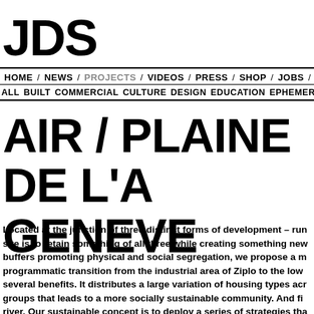JDS
HOME / NEWS / PROJECTS / VIDEOS / PRESS / SHOP / JOBS / ABOUT
ALL BUILT COMMERCIAL CULTURE DESIGN EDUCATION EPHEMERAL
AIR / PLAINE DE L'A GENEVE
Located at the junction of three distinct forms of development – run... site is to retain something of all three while creating something new... buffers promoting physical and social segregation, we propose a m... programmatic transition from the industrial area of Ziplo to the low... several benefits. It distributes a large variation of housing types acr... groups that leads to a more socially sustainable community. And fi... river. Our sustainable concept is to deploy a series of strategies tha... energy source gimmick which will solve all of the problems. It is no...